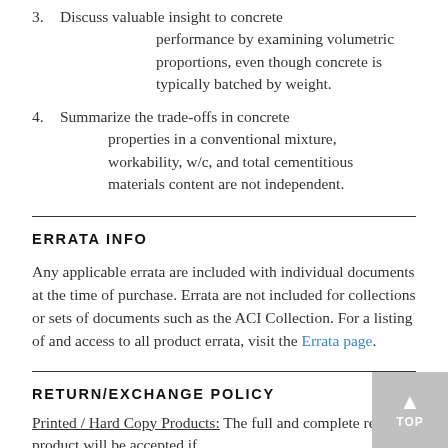3. Discuss valuable insight to concrete performance by examining volumetric proportions, even though concrete is typically batched by weight.
4. Summarize the trade-offs in concrete properties in a conventional mixture, workability, w/c, and total cementitious materials content are not independent.
ERRATA INFO
Any applicable errata are included with individual documents at the time of purchase. Errata are not included for collections or sets of documents such as the ACI Collection. For a listing of and access to all product errata, visit the Errata page.
RETURN/EXCHANGE POLICY
Printed / Hard Copy Products: The full and complete returned product will be accepted if